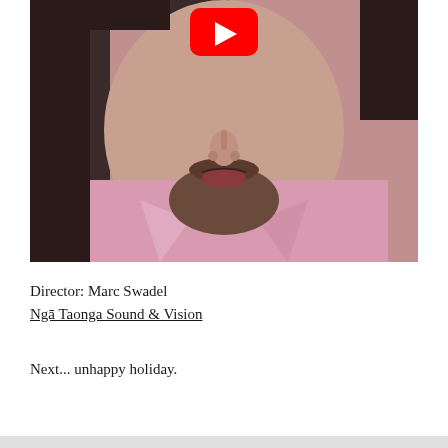[Figure (photo): A close-up video thumbnail of a man with dark curly hair, beard, wearing a pink shirt, with a YouTube play button overlay in red centered at the top of the image.]
Director: Marc Swadel
Ngā Taonga Sound & Vision
Next... unhappy holiday.